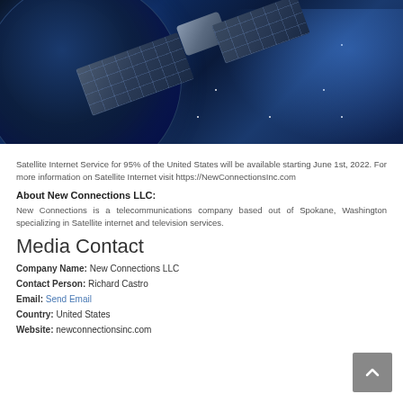[Figure (photo): Satellite in space with solar panels, Earth visible in background, dark blue space with stars]
Satellite Internet Service for 95% of the United States will be available starting June 1st, 2022. For more information on Satellite Internet visit https://NewConnectionsInc.com
About New Connections LLC:
New Connections is a telecommunications company based out of Spokane, Washington specializing in Satellite internet and television services.
Media Contact
Company Name: New Connections LLC
Contact Person: Richard Castro
Email: Send Email
Country: United States
Website: newconnectionsinc.com